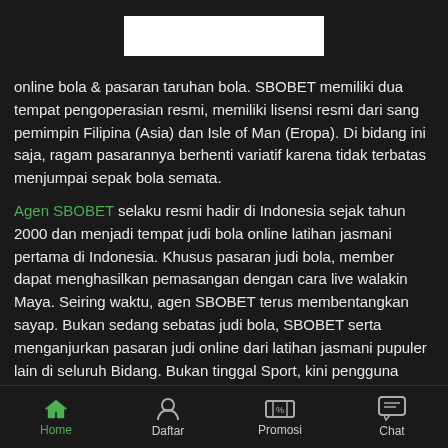[Figure (other): White logo/banner box on dark background header]
online bola & pasaran taruhan bola. SBOBET memiliki dua tempat pengoperasian resmi, memiliki lisensi resmi dari sang pemimpin Filipina (Asia) dan Isle of Man (Eropa). Di bidang ini saja, ragam pasarannya berhenti variatif karena tidak terbatas menjumpai sepak bola semata.
Agen SBOBET selaku resmi hadir di Indonesia sejak tahun 2000 dan menjadi tempat judi bola online latihan jasmani pertama di Indonesia. Khusus pasaran judi bola, member dapat menghasilkan pemasangan dengan cara live walakin Maya. Seiring waktu, agen SBOBET terus membentangkan sayap. Bukan sedang sebatas judi bola, SBOBET serta menganjurkan pasaran judi online dari latihan jasmani pupuler lain di seluruh Bidang. Bukan tinggal Sport, kini pengguna SBOBET dapat menikmati judi online yang lain seperti slot, arcade, live casino hingga balapan. Seiring pula susunan Masa, SBOBET sekarang sediakan pasaran taruhan untuk game e-sport, yang merupakan beberapa milenial.
Home  Daftar  Promosi  Chat